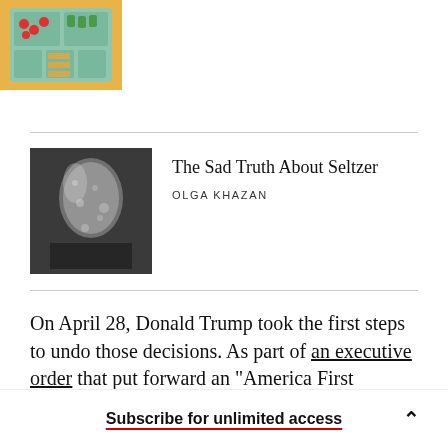[Figure (photo): Food tray with compartments containing strawberries, vegetables, and crackers on a yellow background]
[Figure (photo): Close-up of a seltzer bottle with water droplets and bubbles visible]
The Sad Truth About Seltzer
OLGA KHAZAN
On April 28, Donald Trump took the first steps to undo those decisions. As part of an executive order that put forward an “America First Offshore Energy Strategy,” he specifically charged Secretary of the
Subscribe for unlimited access